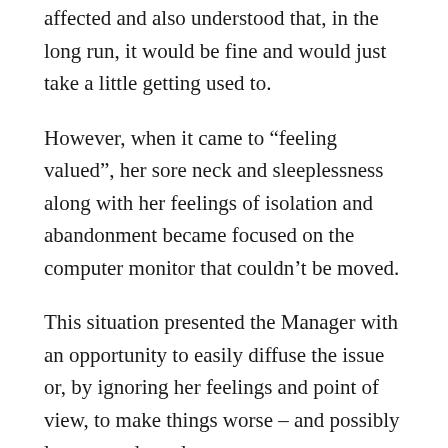affected and also understood that, in the long run, it would be fine and would just take a little getting used to.
However, when it came to “feeling valued”, her sore neck and sleeplessness along with her feelings of isolation and abandonment became focused on the computer monitor that couldn’t be moved.
This situation presented the Manager with an opportunity to easily diffuse the issue or, by ignoring her feelings and point of view, to make things worse – and possibly lose a good employee.
Fortunately, the Manager did the right thing.
He immediately appointed him to about the re...